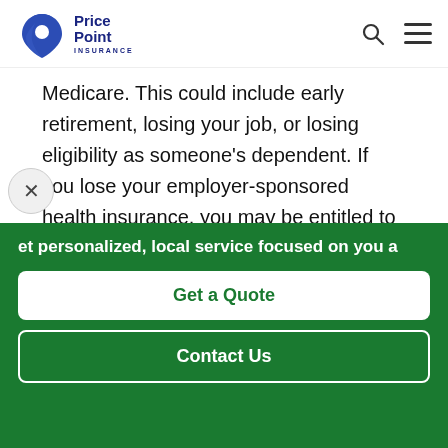Price Point Insurance
Medicare. This could include early retirement, losing your job, or losing eligibility as someone's dependent. If you lose your employer-sponsored health insurance, you may be entitled to continue coverage through COBRA if your employer meets certain requirements. Or, depending on your
et personalized, local service focused on you a
Get a Quote
Contact Us